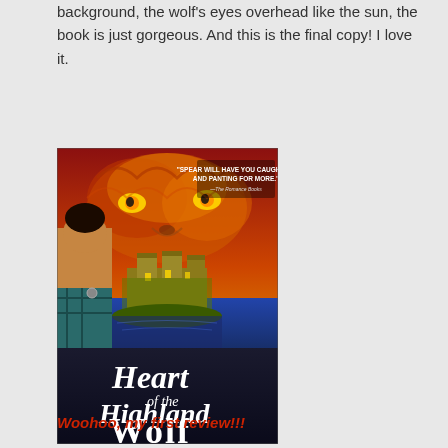background, the wolf's eyes overhead like the sun, the book is just gorgeous. And this is the final copy! I love it.
[Figure (photo): Book cover of 'Heart of the Highland Wolf' by Terry Spear. Features a shirtless man with a tartan, a Scottish castle on a lake, and a large wolf with glowing eyes in a fiery sky background. Tagline: 'Spear will have you caught up and panting for more.' – The Romance Books. Subtitle: 'It's a matter of pride... and a matter of pleasure...']
Woohoo, my first review!!!